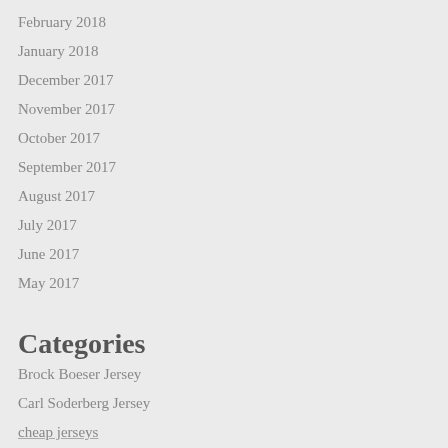February 2018
January 2018
December 2017
November 2017
October 2017
September 2017
August 2017
July 2017
June 2017
May 2017
Categories
Brock Boeser Jersey
Carl Soderberg Jersey
cheap jerseys